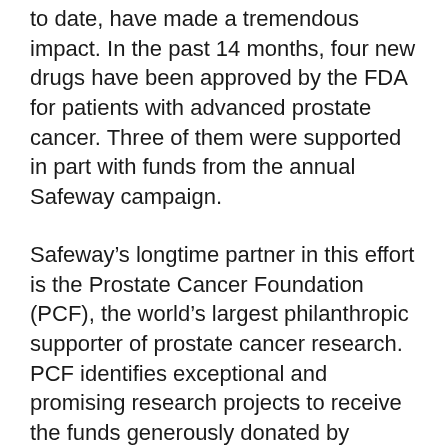to date, have made a tremendous impact. In the past 14 months, four new drugs have been approved by the FDA for patients with advanced prostate cancer. Three of them were supported in part with funds from the annual Safeway campaign.
Safeway's longtime partner in this effort is the Prostate Cancer Foundation (PCF), the world's largest philanthropic supporter of prostate cancer research. PCF identifies exceptional and promising research projects to receive the funds generously donated by Safeway's customers.
Statistics revealing the prevalence of prostate cancer attest to the need for this sort of strong corporate dedication.